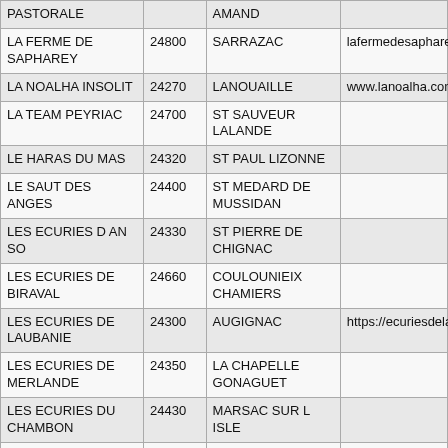| PASTORALE |  | AMAND |  |
| LA FERME DE SAPHAREY | 24800 | SARRAZAC | lafermedesapharey.com |
| LA NOALHA INSOLIT | 24270 | LANOUAILLE | www.lanoalha.com |
| LA TEAM PEYRIAC | 24700 | ST SAUVEUR LALANDE |  |
| LE HARAS DU MAS | 24320 | ST PAUL LIZONNE |  |
| LE SAUT DES ANGES | 24400 | ST MEDARD DE MUSSIDAN |  |
| LES ECURIES D AN SO | 24330 | ST PIERRE DE CHIGNAC |  |
| LES ECURIES DE BIRAVAL | 24660 | COULOUNIEIX CHAMIERS |  |
| LES ECURIES DE LAUBANIE | 24300 | AUGIGNAC | https://ecuriesdelaubanie |
| LES ECURIES DE MERLANDE | 24350 | LA CHAPELLE GONAGUET |  |
| LES ECURIES DU CHAMBON | 24430 | MARSAC SUR L ISLE |  |
| LES ECURIES DU CLAUD | 24250 | DAGLAN |  |